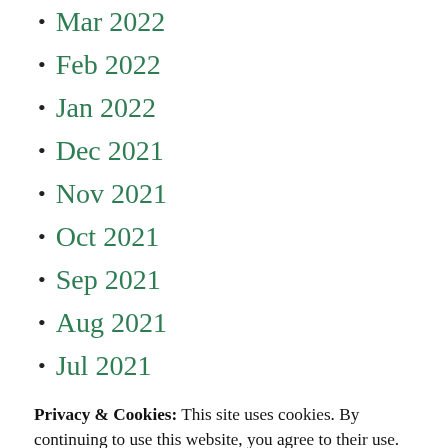Mar 2022
Feb 2022
Jan 2022
Dec 2021
Nov 2021
Oct 2021
Sep 2021
Aug 2021
Jul 2021
Jun 2021
Privacy & Cookies: This site uses cookies. By continuing to use this website, you agree to their use. To find out more, including how to control cookies, see here: Cookie Policy
Apr 2021
Feb 2021
Nov 2020